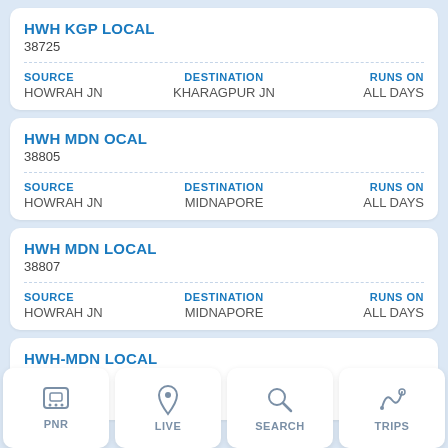HWH KGP LOCAL
38725
| SOURCE | DESTINATION | RUNS ON |
| --- | --- | --- |
| HOWRAH JN | KHARAGPUR JN | ALL DAYS |
HWH MDN OCAL
38805
| SOURCE | DESTINATION | RUNS ON |
| --- | --- | --- |
| HOWRAH JN | MIDNAPORE | ALL DAYS |
HWH MDN LOCAL
38807
| SOURCE | DESTINATION | RUNS ON |
| --- | --- | --- |
| HOWRAH JN | MIDNAPORE | ALL DAYS |
HWH-MDN LOCAL
38817
SOURCE  DESTINATION  RUNS ON
HOWRAH JN  MIDNAPORE  ALL DAYS
[Figure (screenshot): Bottom navigation bar with PNR, LIVE, SEARCH, TRIPS buttons]